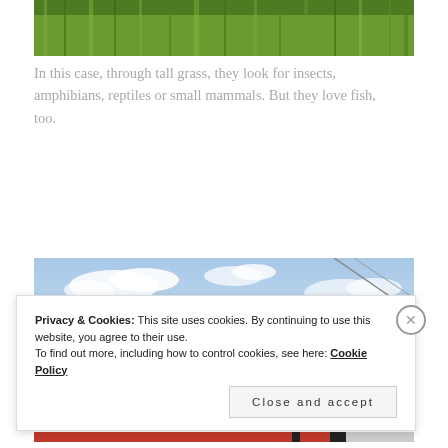[Figure (photo): Close-up of tall green grass filling the frame]
In this case, through tall grass, they look for insects, amphibians, reptiles or small mammals. But they love fish, too.
[Figure (photo): Blue sky with scattered white clouds and a diagonal wire or pole]
Privacy & Cookies: This site uses cookies. By continuing to use this website, you agree to their use.
To find out more, including how to control cookies, see here: Cookie Policy
Close and accept